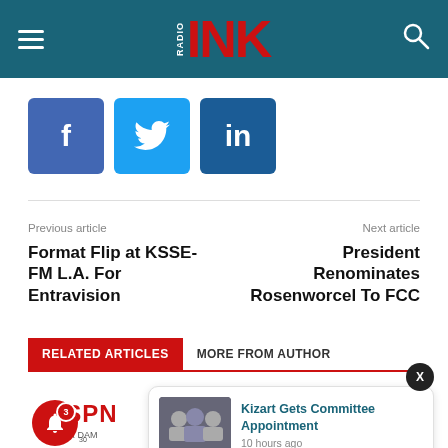RADIO INK
[Figure (logo): Radio Ink logo — white 'RADIO' text vertically stacked next to large red 'INK' letters on teal background]
[Figure (infographic): Social sharing buttons: Facebook (f), Twitter (bird), LinkedIn (in)]
Previous article
Format Flip at KSSE-FM L.A. For Entravision
Next article
President Renominates Rosenworcel To FCC
RELATED ARTICLES   MORE FROM AUTHOR
Kizart Gets Committee Appointment
10 hours ago